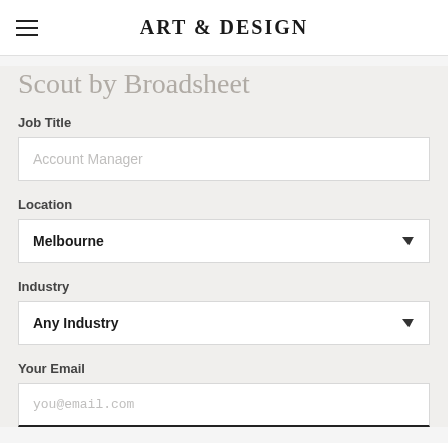ART & DESIGN
Scout by Broadsheet
Job Title
Account Manager
Location
Melbourne
Industry
Any Industry
Your Email
you@email.com